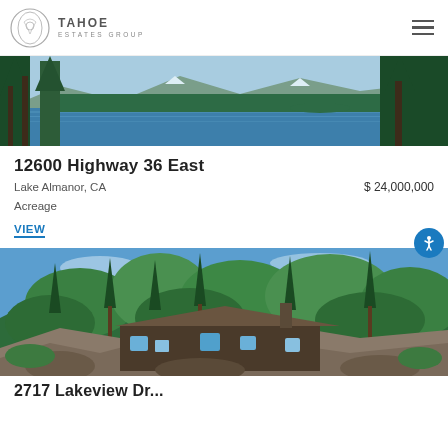Tahoe Estates Group
[Figure (photo): Panoramic view of Lake Almanor with pine trees in foreground and mountains in background]
12600 Highway 36 East
Lake Almanor, CA   $ 24,000,000
Acreage
VIEW
[Figure (photo): Aerial/hillside view of a large estate home surrounded by tall pine trees with blue sky]
2717 Lakeview Drive (partial, clipped)